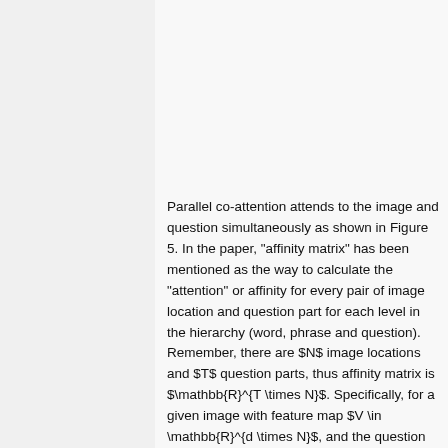[Figure (illustration): Dashed oval shape labeled 'Image' representing the parallel co-attention mechanism diagram, Figure 2(a) from original paper]
Figure 5: Parallel co-attention mechanism (ref: Figure 2 (a) from original paper)
Parallel co-attention attends to the image and question simultaneously as shown in Figure 5. In the paper, "affinity matrix" has been mentioned as the way to calculate the "attention" or affinity for every pair of image location and question part for each level in the hierarchy (word, phrase and question). Remember, there are $N$ image locations and $T$ question parts, thus affinity matrix is $\mathbb{R}^{T \times N}$. Specifically, for a given image with feature map $V \in \mathbb{R}^{d \times N}$, and the question representation $Q \in \mathbb{R}^{d \times T}$, the affinity matrix $C \in \mathbb{R}^{T \times N}$ is